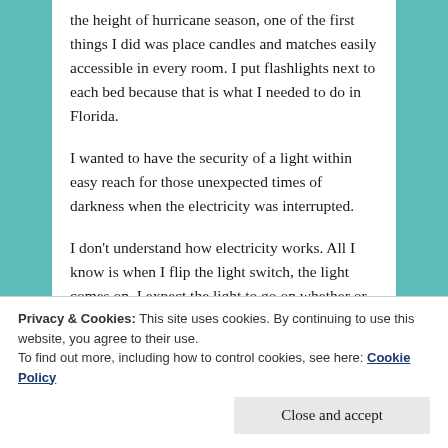the height of hurricane season, one of the first things I did was place candles and matches easily accessible in every room. I put flashlights next to each bed because that is what I needed to do in Florida.
I wanted to have the security of a light within easy reach for those unexpected times of darkness when the electricity was interrupted.
I don’t understand how electricity works. All I know is when I flip the light switch, the light comes on. I expect the light to go on whether or not I see all the wires and turbines that create it.
I believe the electricity will work. I put my trust in the
Privacy & Cookies: This site uses cookies. By continuing to use this website, you agree to their use.
To find out more, including how to control cookies, see here: Cookie Policy
When the power goes out in our life and the darkness of